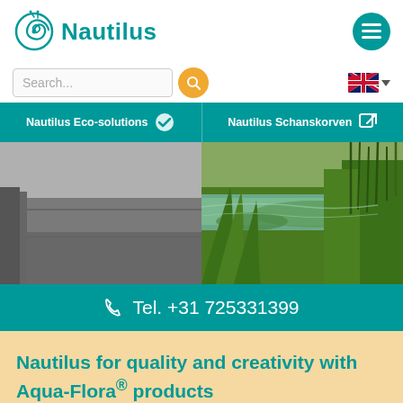[Figure (logo): Nautilus logo with teal nautilus shell icon and teal bold text 'Nautilus']
[Figure (infographic): Teal circular menu hamburger icon button]
Search...
[Figure (infographic): Orange circular search icon button]
[Figure (infographic): UK flag language selector with dropdown arrow]
Nautilus Eco-solutions
Nautilus Schanskorven
[Figure (photo): Split hero image showing grey pavement on the left and a lush green wetland/canal scene on the right]
Tel. +31 725331399
Nautilus for quality and creativity with Aqua-Flora® products